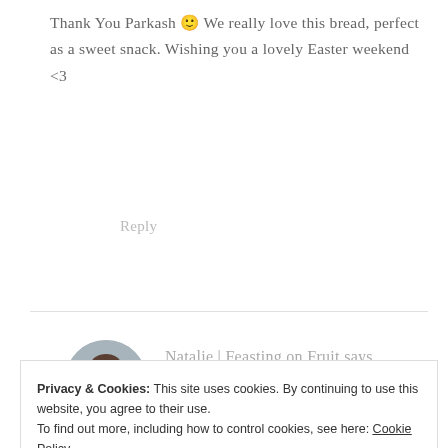Thank You Parkash 🙂 We really love this bread, perfect as a sweet snack. Wishing you a lovely Easter weekend <3
Reply
Natalie | Feasting on Fruit says
March 15, 2016 at 6:20 pm
Privacy & Cookies: This site uses cookies. By continuing to use this website, you agree to their use. To find out more, including how to control cookies, see here: Cookie Policy
Close and accept
craving girl 🙂 it's so funny that you posted this